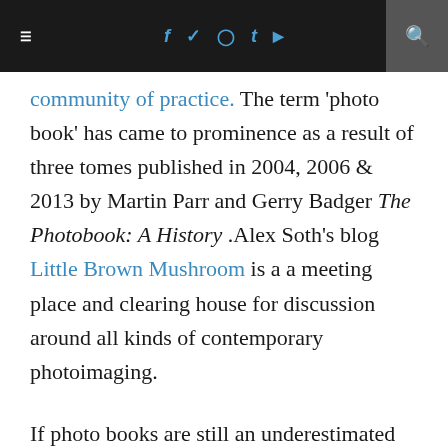Navigation bar with hamburger menu, social icons (f, twitter, instagram, t, youtube), and search
community of practice. The term 'photo book' has came to prominence as a result of three tomes published in 2004, 2006 & 2013 by Martin Parr and Gerry Badger The Photobook: A History .Alex Soth's blog Little Brown Mushroom is a a meeting place and clearing house for discussion around all kinds of contemporary photoimaging.
If photo books are still an underestimated asset in the cultural history of photography, there has been a strong revival of interest in the photo book